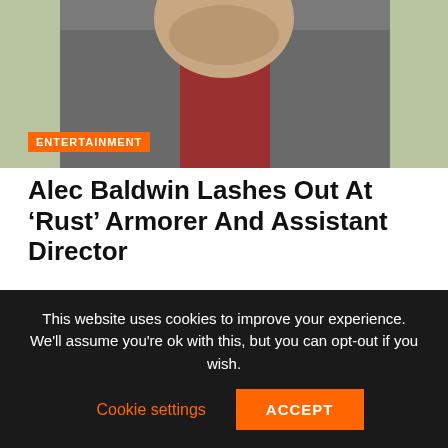[Figure (photo): Photo of a man in a dark jacket and red shirt, partially visible, with a light green background. An orange 'ENTERTAINMENT' badge overlays the lower-left of the image.]
Alec Baldwin Lashes Out At ‘Rust’ Armorer And Assistant Director
[Figure (other): Advertisement placeholder box with light gray background.]
This website uses cookies to improve your experience. We’ll assume you’re ok with this, but you can opt-out if you wish.
Cookie settings
ACCEPT